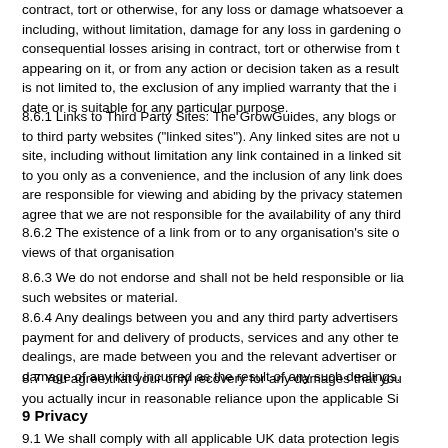contract, tort or otherwise, for any loss or damage whatsoever a including, without limitation, damage for any loss in gardening o consequential losses arising in contract, tort or otherwise from t appearing on it, or from any action or decision taken as a result is not limited to, the exclusion of any implied warranty that the i date or is suitable for any particular purpose.
8.6.1 Links to Third Party Sites: The GrowGuides, any blogs or to third party websites ("linked sites"). Any linked sites are not u site, including without limitation any link contained in a linked sit to you only as a convenience, and the inclusion of any link does are responsible for viewing and abiding by the privacy statemen agree that we are not responsible for the availability of any third
8.6.2 The existence of a link from or to any organisation's site o views of that organisation
8.6.3 We do not endorse and shall not be held responsible or lia such websites or material.
8.6.4 Any dealings between you and any third party advertisers payment for and delivery of products, services and any other te dealings, are made between you and the relevant advertiser or damage of any kind incurred as the result of any such dealings.
8.7 You agree that your only recovery for any damages that you you actually incur in reasonable reliance upon the applicable Si
9 Privacy
9.1 We shall comply with all applicable UK data protection legis